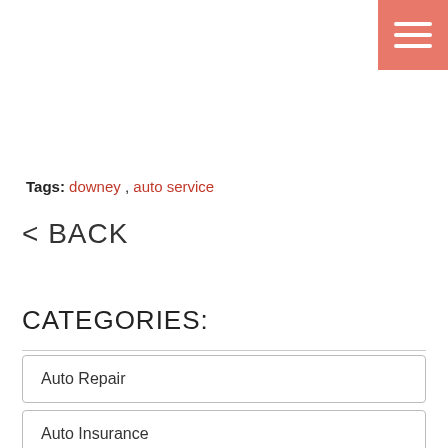[Figure (other): Hamburger menu button with three white horizontal lines on salmon/pink background, top-right corner]
Tags: downey , auto service
< BACK
CATEGORIES:
Auto Repair
Auto Insurance